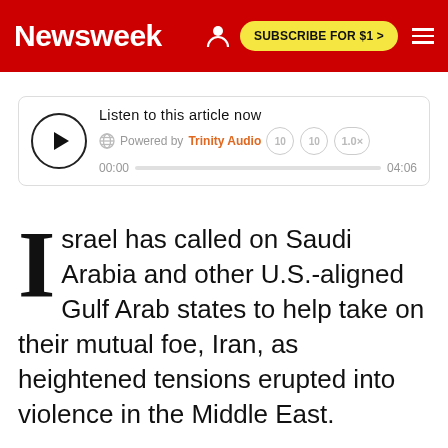Newsweek | SUBSCRIBE FOR $1 >
[Figure (other): Audio player widget: Listen to this article now. Powered by Trinity Audio. Duration 04:06, current position 00:00. Controls include play button, rewind, forward, and 1.0x speed.]
Israel has called on Saudi Arabia and other U.S.-aligned Gulf Arab states to help take on their mutual foe, Iran, as heightened tensions erupted into violence in the Middle East.